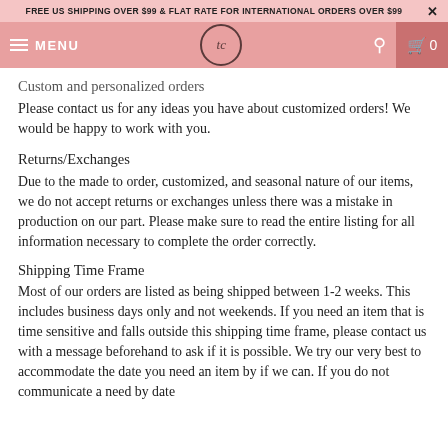FREE US SHIPPING OVER $99 & FLAT RATE FOR INTERNATIONAL ORDERS OVER $99
[Figure (screenshot): E-commerce website navbar with hamburger menu (MENU), tc logo in circle, search icon, and cart icon showing 0]
Custom and personalized orders
Please contact us for any ideas you have about customized orders! We would be happy to work with you.
Returns/Exchanges
Due to the made to order, customized, and seasonal nature of our items, we do not accept returns or exchanges unless there was a mistake in production on our part. Please make sure to read the entire listing for all information necessary to complete the order correctly.
Shipping Time Frame
Most of our orders are listed as being shipped between 1-2 weeks. This includes business days only and not weekends. If you need an item that is time sensitive and falls outside this shipping time frame, please contact us with a message beforehand to ask if it is possible. We try our very best to accommodate the date you need an item by if we can. If you do not communicate a need by date